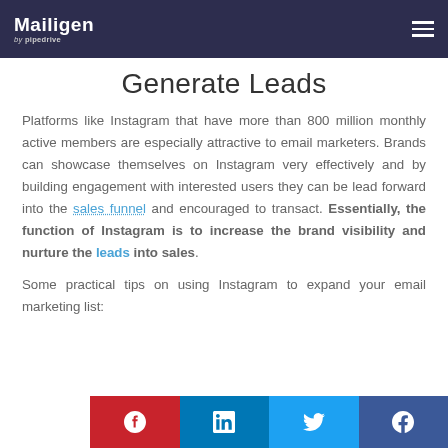Mailigen by pipedrive
Generate Leads
Platforms like Instagram that have more than 800 million monthly active members are especially attractive to email marketers. Brands can showcase themselves on Instagram very effectively and by building engagement with interested users they can be lead forward into the sales funnel and encouraged to transact. Essentially, the function of Instagram is to increase the brand visibility and nurture the leads into sales.
Some practical tips on using Instagram to expand your email marketing list: